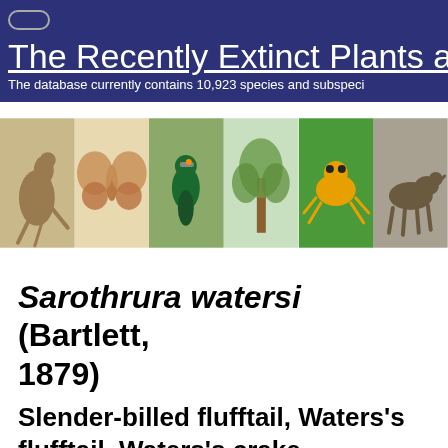The Recently Extinct Plants and Animals Database
The database currently contains 10,923 species and subspecies
[Figure (photo): Strip of six animal/plant illustrations: kangaroo, moth, bird, plant, golden frog, thylacine]
Sarothrura watersi (Bartlett, 1879)
Slender-billed flufftail, Waters's flufftail, Waters's crake